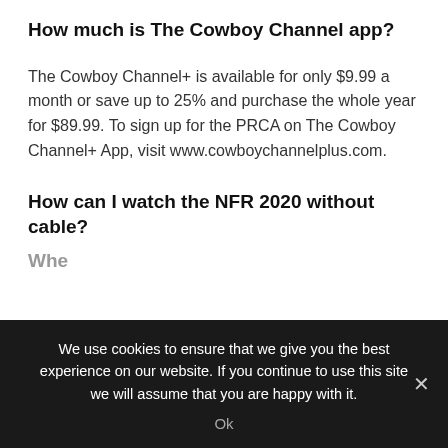How much is The Cowboy Channel app?
The Cowboy Channel+ is available for only $9.99 a month or save up to 25% and purchase the whole year for $89.99. To sign up for the PRCA on The Cowboy Channel+ App, visit www.cowboychannelplus.com.
How can I watch the NFR 2020 without cable?
Whe...
We use cookies to ensure that we give you the best experience on our website. If you continue to use this site we will assume that you are happy with it.
Ok